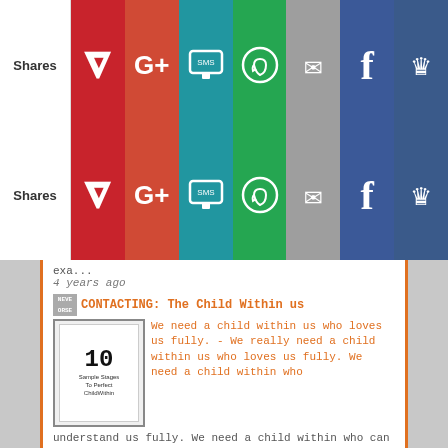[Figure (screenshot): Social share bar row 1 with Shares label, Pinterest, G+, SMS, WhatsApp, Email, Facebook, King buttons]
[Figure (screenshot): Social share bar row 2 with Shares label, Pinterest, G+, SMS, WhatsApp, Email, Facebook, King buttons]
exa...
4 years ago
CONTACTING: The Child Within us
We need a child within us who loves us fully. - We really need a child within us who loves us fully. We need a child within who understand us fully. We need a child within who can adequately translate t...
5 years ago
STAGES CHILD WITHIN EVENTS AND FORUM
You will find favour with someone you don't expect « 10 STAGES RECOVERY EMPATHY PRACTICE - You will find favour with someone you don't expect « 10 STAGES RECOVERY EMPATHY PRACTICE
5 years ago